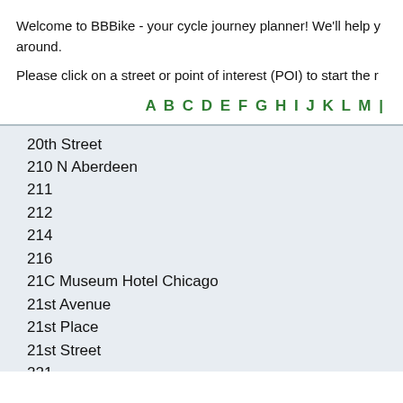Welcome to BBBike - your cycle journey planner! We'll help you get around.
Please click on a street or point of interest (POI) to start the routing.
A B C D E F G H I J K L M ...
20th Street
210 N Aberdeen
211
212
214
216
21C Museum Hotel Chicago
21st Avenue
21st Place
21st Street
221
221 & 332
222
223 & 811
22nd Avenue
22nd Place
22nd Street